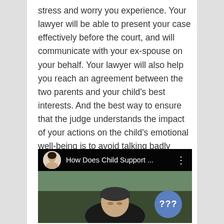stress and worry you experience. Your lawyer will be able to present your case effectively before the court, and will communicate with your ex-spouse on your behalf. Your lawyer will also help you reach an agreement between the two parents and your child's best interests. And the best way to ensure that the judge understands the impact of your actions on the child's emotional well-being is to avoid talking badly about the other parent.
[Figure (screenshot): A video thumbnail showing 'How Does Child Support ...' with a circular avatar of a woman with dark hair on the left, a three-dot menu icon on the right, and a young person wearing a cap in the background. A blue circle with '???' is visible in the lower right.]